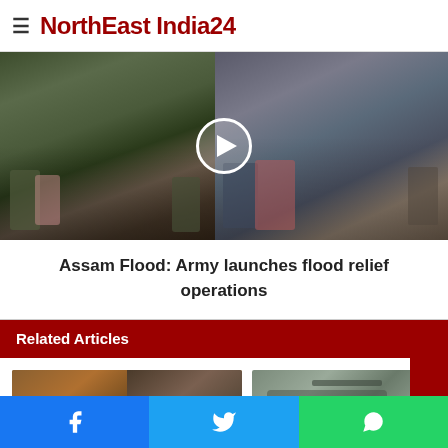NorthEast India24
[Figure (photo): Two-panel hero image showing flood relief operations — left panel shows soldiers/people in dim light, right panel shows Army personnel carrying/helping flood victims. A play button circle is overlaid in the center.]
Assam Flood: Army launches flood relief operations
Related Articles
[Figure (photo): Two thumbnail images side by side — left thumbnail shows a painting/illustration of a warrior on horseback alongside a man in a suit; right thumbnail shows an Army helicopter on the ground.]
Facebook share | Twitter share | WhatsApp share